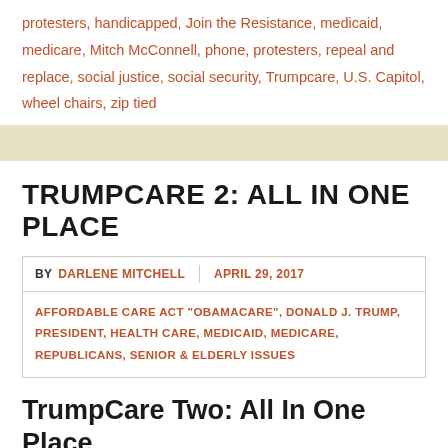protesters, handicapped, Join the Resistance, medicaid, medicare, Mitch McConnell, phone, protesters, repeal and replace, social justice, social security, Trumpcare, U.S. Capitol, wheel chairs, zip tied
TRUMPCARE 2: ALL IN ONE PLACE
BY DARLENE MITCHELL | APRIL 29, 2017
AFFORDABLE CARE ACT "OBAMACARE", DONALD J. TRUMP, PRESIDENT, HEALTH CARE, MEDICAID, MEDICARE, REPUBLICANS, SENIOR & ELDERLY ISSUES
TrumpCare Two: All In One Place
D. S. Mitchell